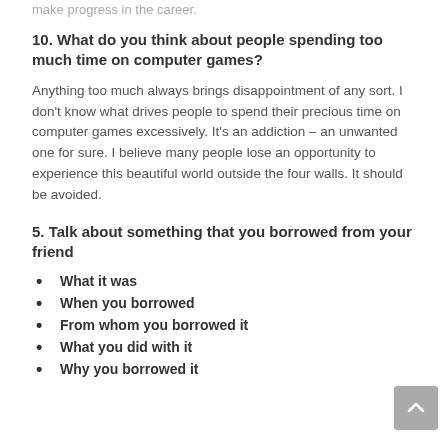make progress in the career.
10. What do you think about people spending too much time on computer games?
Anything too much always brings disappointment of any sort. I don't know what drives people to spend their precious time on computer games excessively. It's an addiction – an unwanted one for sure. I believe many people lose an opportunity to experience this beautiful world outside the four walls. It should be avoided.
5. Talk about something that you borrowed from your friend
What it was
When you borrowed
From whom you borrowed it
What you did with it
Why you borrowed it